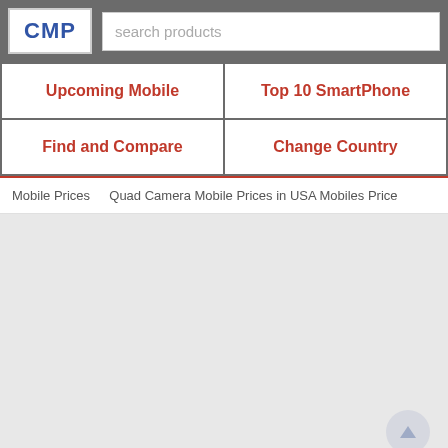CMP
search products
Upcoming Mobile
Top 10 SmartPhone
Find and Compare
Change Country
Mobile Prices   Quad Camera Mobile Prices in USA Mobiles Price
[Figure (screenshot): Light gray empty content area below the navigation breadcrumb]